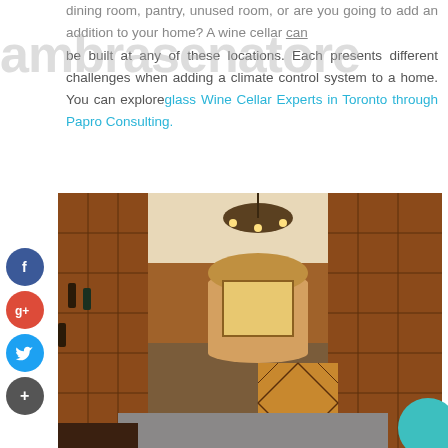ambrasenatore
dining room, pantry, unused room, or are you going to add an addition to your home? A wine cellar can be built at any of these locations. Each presents different challenges when adding a climate control system to a home. You can exploreglass Wine Cellar Experts in Toronto through Papro Consulting.
[Figure (photo): Interior photo of a luxurious wooden wine cellar with multiple bottle racks, diamond-pattern wine cubbies, an ornate chandelier, and a framed painting in an arched niche. Social media sharing buttons (Facebook, Google+, Twitter, Plus) are overlaid on the left side.]